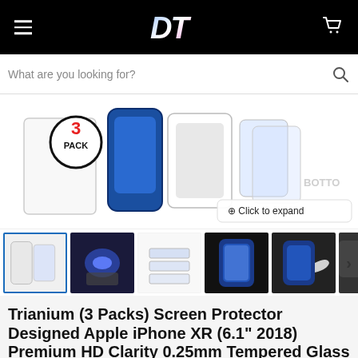DT (logo)
What are you looking for?
[Figure (photo): Product image showing Trianium 3 Pack screen protector packaging and components for iPhone XR, showing a '3 PACK' badge, blue iPhone XR, clear tempered glass protectors, and 'Click to expand' button]
[Figure (photo): Thumbnail gallery row with 5 product images: front packaging, finger touching glass, stacked glass, phone with screen protector, hand holding phone, and partial sixth image. Navigation arrow on right.]
Trianium (3 Packs) Screen Protector Designed Apple iPhone XR (6.1" 2018) Premium HD Clarity 0.25mm Tempered Glass Screen Protector Easy Installation Alignment Case Frame [3D Touch] (3-